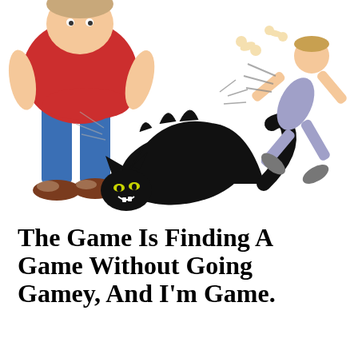[Figure (illustration): Cartoon illustration showing a heavyset man in a red shirt and blue jeans, a large black angry cat arching its back between the man's legs, and a scared thin person being knocked back, with motion lines indicating impact.]
The Game Is Finding A Game Without Going Gamey, And I'm Game.
Privacy & Cookies: This site uses cookies. By continuing to use this website, you agree to their use.
To find out more, including how to control cookies, see here: Cookie Policy
Close and accept